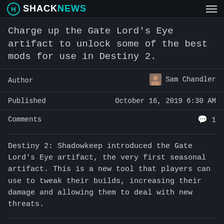SHACKNEWS
Charge up the Gate Lord's Eye artifact to unlock some of the best mods for use in Destiny 2.
|  |  |
| --- | --- |
| Author | Sam Chandler |
| Published | October 16, 2019 6:30 AM |
| Comments | 1 |
Destiny 2: Shadowkeep introduced the Gate Lord's Eye artifact, the very first seasonal artifact. This is a new tool that players can use to tweak their builds, increasing their damage and allowing them to deal with new threats.
How to unlock the Gate Lord's Eye artifact